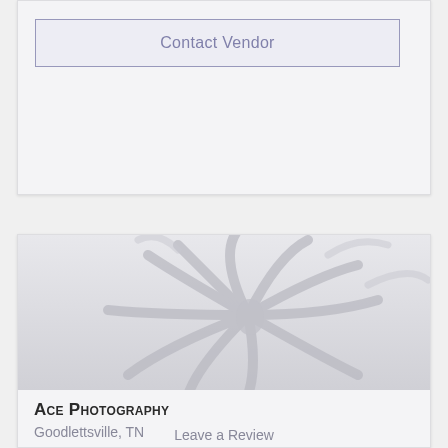Contact Vendor
[Figure (illustration): Vendor card with flower/daisy watermark placeholder image in gray tones]
Ace Photography
Goodlettsville, TN
Leave a Review